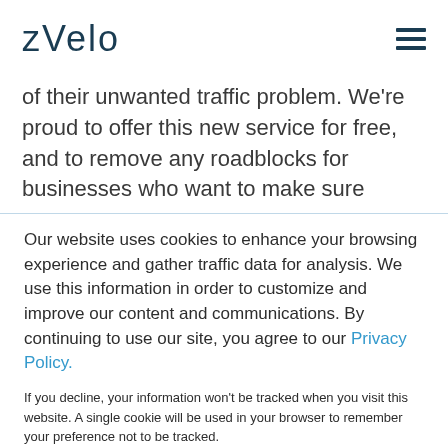zvelo
of their unwanted traffic problem. We're proud to offer this new service for free, and to remove any roadblocks for businesses who want to make sure
Our website uses cookies to enhance your browsing experience and gather traffic data for analysis. We use this information in order to customize and improve our content and communications. By continuing to use our site, you agree to our Privacy Policy.
If you decline, your information won't be tracked when you visit this website. A single cookie will be used in your browser to remember your preference not to be tracked.